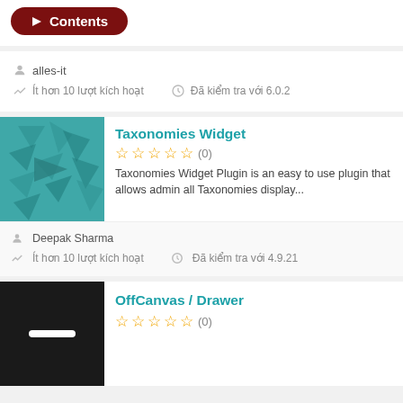[Figure (screenshot): Red rounded Contents button partially visible at top]
alles-it
Ít hơn 10 lượt kích hoạt
Đã kiểm tra với 6.0.2
Taxonomies Widget
(0) stars rating
Taxonomies Widget Plugin is an easy to use plugin that allows admin all Taxonomies display...
Deepak Sharma
Ít hơn 10 lượt kích hoạt
Đã kiểm tra với 4.9.21
OffCanvas / Drawer
(0) stars rating